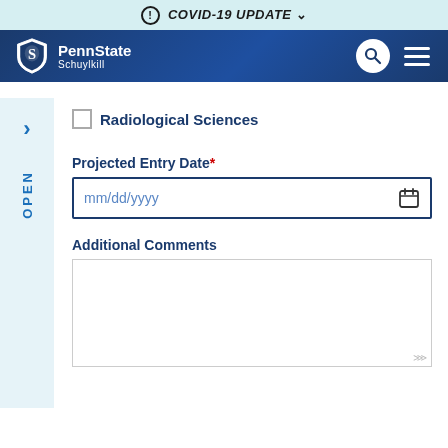ⓘ COVID-19 UPDATE ∨
[Figure (screenshot): Penn State Schuylkill navigation bar with logo, search icon, and menu icon]
Radiological Sciences
Projected Entry Date* mm/dd/yyyy
Additional Comments